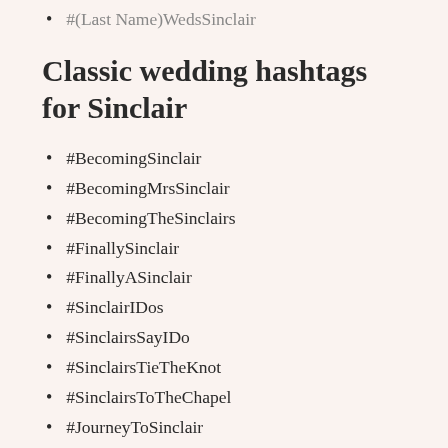#(Last Name)WedsSinclair
Classic wedding hashtags for Sinclair
#BecomingSinclair
#BecomingMrsSinclair
#BecomingTheSinclairs
#FinallySinclair
#FinallyASinclair
#SinclairIDos
#SinclairsSayIDo
#SinclairsTieTheKnot
#SinclairsToTheChapel
#JourneyToSinclair